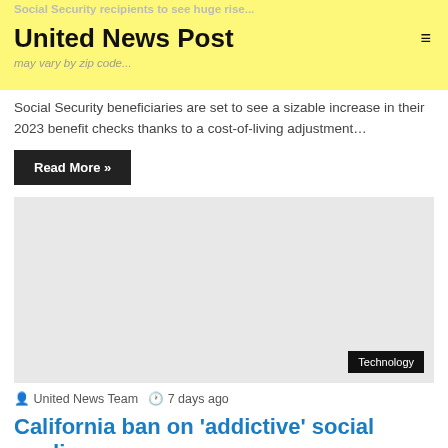United News Post
Social Security beneficiaries are set to see a sizable increase in their 2023 benefit checks thanks to a cost-of-living adjustment…
Read More »
[Figure (other): Gray advertisement placeholder block with Technology badge in bottom right corner]
United News Team   7 days ago
California ban on 'addictive' social media